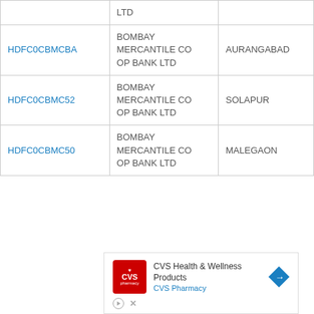| IFSC Code | Bank Name | City |
| --- | --- | --- |
|  | LTD |  |
| HDFC0CBMCBA | BOMBAY MERCANTILE CO OP BANK LTD | AURANGABAD |
| HDFC0CBMC52 | BOMBAY MERCANTILE CO OP BANK LTD | SOLAPUR |
| HDFC0CBMC50 | BOMBAY MERCANTILE CO OP BANK LTD | MALEGAON |
[Figure (other): Advertisement banner for CVS Health & Wellness Products / CVS Pharmacy with logo, arrow button, play and close controls]